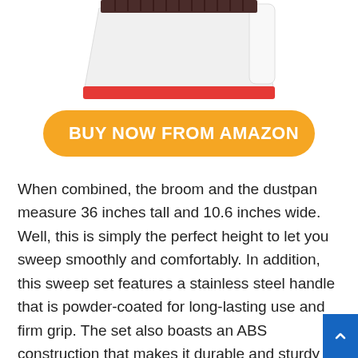[Figure (photo): Partial view of a broom and dustpan set with dark brown bristles, white body, and red rubber edge at the bottom of the dustpan, shown from above against white background.]
[Figure (other): Orange rounded rectangle button with shopping cart icon and text 'BUY NOW FROM AMAZON' in white bold uppercase letters.]
When combined, the broom and the dustpan measure 36 inches tall and 10.6 inches wide. Well, this is simply the perfect height to let you sweep smoothly and comfortably. In addition, this sweep set features a stainless steel handle that is powder-coated for long-lasting use and firm grip. The set also boasts an ABS construction that makes it durable and sturdy for both home use and